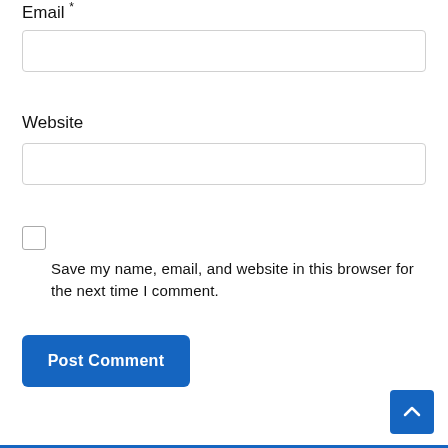Email *
[Figure (other): Empty text input field for Email]
Website
[Figure (other): Empty text input field for Website]
[Figure (other): Unchecked checkbox]
Save my name, email, and website in this browser for the next time I comment.
[Figure (other): Blue Post Comment button]
[Figure (other): Blue scroll-to-top button with upward chevron]